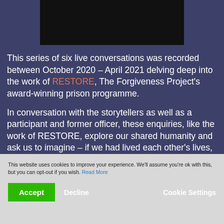[Figure (photo): Dark/black video thumbnail image at the top center of the page]
This series of six live conversations was recorded between October 2020 – April 2021 delving deep into the work of RESTORE, The Forgiveness Project's award-winning prison programme.
In conversation with the storytellers as well as a participant and former officer, these enquiries, like the work of RESTORE, explore our shared humanity and ask us to imagine – if we had lived each other's lives, would we have done things any differently? More information about the series
This website uses cookies to improve your experience. We'll assume you're ok with this, but you can opt-out if you wish. Read More